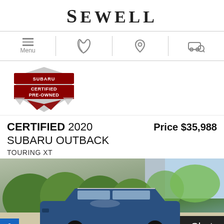SEWELL
[Figure (screenshot): Navigation bar with menu icon, phone icon, location pin icon, and car search icon]
[Figure (logo): Subaru Certified Pre-Owned badge — shield shape with red ribbon, text: SUBARU CERTIFIED PRE-OWNED]
CERTIFIED 2020 SUBARU OUTBACK TOURING XT  Price $35,988
[Figure (photo): Blue Subaru Outback Touring XT SUV parked in front of green shrubs and a grey wall, with a Chat button overlay in the bottom right corner]